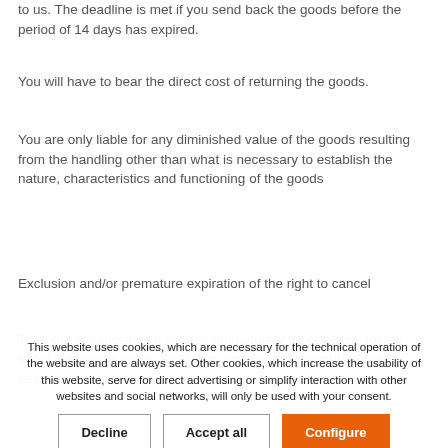to us. The deadline is met if you send back the goods before the period of 14 days has expired.
You will have to bear the direct cost of returning the goods.
You are only liable for any diminished value of the goods resulting from the handling other than what is necessary to establish the nature, characteristics and functioning of the goods
Exclusion and/or premature expiration of the right to cancel
The right of cancellation expires prematurely for contracts for the supply of sealed goods which are not suitable for return due to health
This website uses cookies, which are necessary for the technical operation of the website and are always set. Other cookies, which increase the usability of this website, serve for direct advertising or simplify interaction with other websites and social networks, will only be used with your consent.
Decline
Accept all
Configure